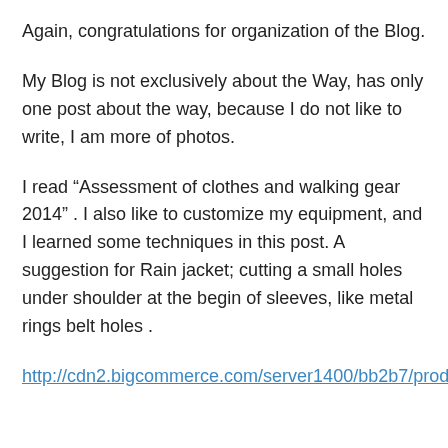Again, congratulations for organization of the Blog.
My Blog is not exclusively about the Way, has only one post about the way, because I do not like to write, I am more of photos.
I read “Assessment of clothes and walking gear 2014” . I also like to customize my equipment, and I learned some techniques in this post. A suggestion for Rain jacket; cutting a small holes under shoulder at the begin of sleeves, like metal rings belt holes .
http://cdn2.bigcommerce.com/server1400/bb2b7/products/6046/images/13226/2412_black_leather_one_hole_belt_1...96045.1405454844.1280